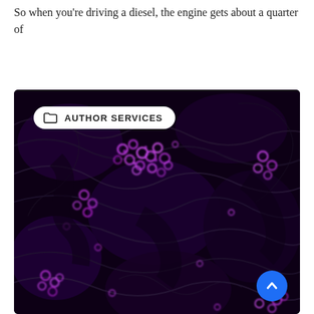So when you're driving a diesel, the engine gets about a quarter of
[Figure (photo): Microscopy image with purple/violet cell clusters against dark swirling black fibrous background, with 'AUTHOR SERVICES' badge overlay and a blue scroll-up button in the bottom right corner.]